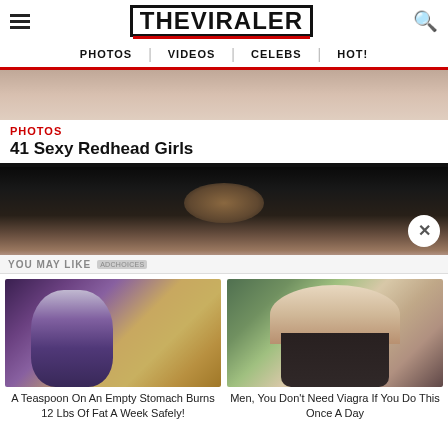THE VIRALER — PHOTOS | VIDEOS | CELEBS | HOT!
[Figure (photo): Partial top photo from article about redhead girls]
PHOTOS
41 Sexy Redhead Girls
[Figure (photo): Dark hair/head partial photo with close button X]
YOU MAY LIKE
[Figure (photo): Fitness woman with purple hair running and spice powder — ad for A Teaspoon On An Empty Stomach Burns 12 Lbs Of Fat A Week Safely!]
A Teaspoon On An Empty Stomach Burns 12 Lbs Of Fat A Week Safely!
[Figure (photo): Blonde woman sitting outdoors in patterned top — ad for Men, You Don't Need Viagra If You Do This Once A Day]
Men, You Don't Need Viagra If You Do This Once A Day